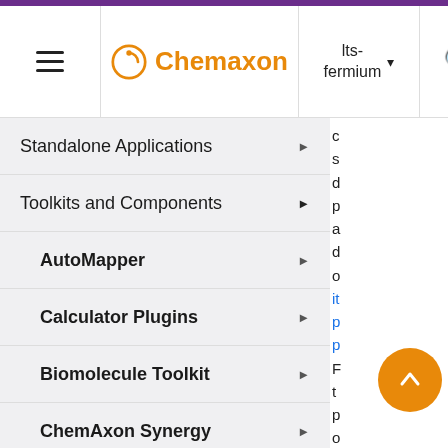Chemaxon | lts-fermium
Standalone Applications
Toolkits and Components
AutoMapper
Calculator Plugins
Biomolecule Toolkit
ChemAxon Synergy
Document to Structure
JChem Base
JChem Choral
s d p a d o it p p F t p o